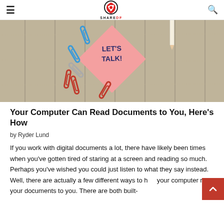SHAREDF (logo/navigation header)
[Figure (photo): Photo of a pink sticky note with 'LET'S TALK!' written on it, surrounded by colorful paper clips on a wooden background.]
Your Computer Can Read Documents to You, Here's How
by Ryder Lund
If you work with digital documents a lot, there have likely been times when you've gotten tired of staring at a screen and reading so much. Perhaps you've wished you could just listen to what they say instead. Well, there are actually a few different ways to h... your computer read your documents to you. There are both built-